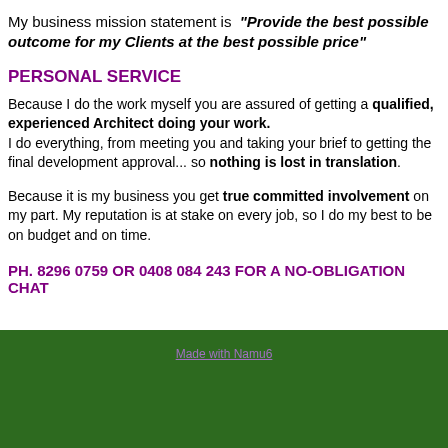My business mission statement is "Provide the best possible outcome for my Clients at the best possible price"
PERSONAL SERVICE
Because I do the work myself you are assured of getting a qualified, experienced Architect doing your work. I do everything, from meeting you and taking your brief to getting the final development approval... so nothing is lost in translation.
Because it is my business you get true committed involvement on my part. My reputation is at stake on every job, so I do my best to be on budget and on time.
PH. 8296 0759 OR 0408 084 243 FOR A NO-OBLIGATION CHAT
Made with Namu6